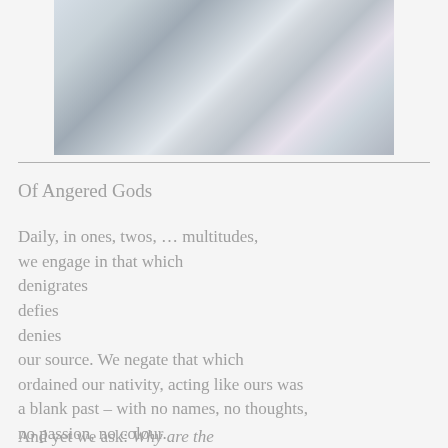[Figure (photo): A blurred/faded photograph of people, partially visible at the top of the page]
Of Angered Gods
Daily, in ones, twos, … multitudes,
we engage in that which
denigrates
defies
denies
our source. We negate that which
ordained our nativity, acting like ours was
a blank past – with no names, no thoughts,
no passion, no colour.
And yet we ask: Why are the